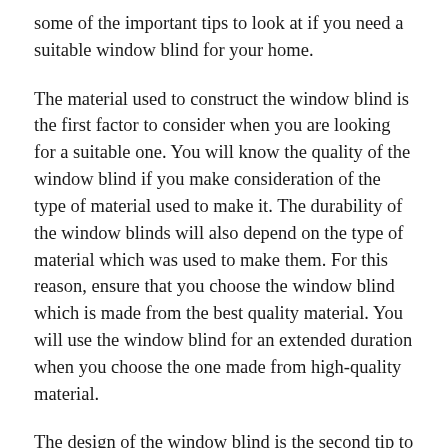some of the important tips to look at if you need a suitable window blind for your home.
The material used to construct the window blind is the first factor to consider when you are looking for a suitable one. You will know the quality of the window blind if you make consideration of the type of material used to make it. The durability of the window blinds will also depend on the type of material which was used to make them. For this reason, ensure that you choose the window blind which is made from the best quality material. You will use the window blind for an extended duration when you choose the one made from high-quality material.
The design of the window blind is the second tip to put into consideration if you are looking for the best one for your home. The reason why you need to make consideration of the design of the window blind is that the appearance of your house. You should make consideration of the layout of the blind if you are searching for a suitable one for your window.